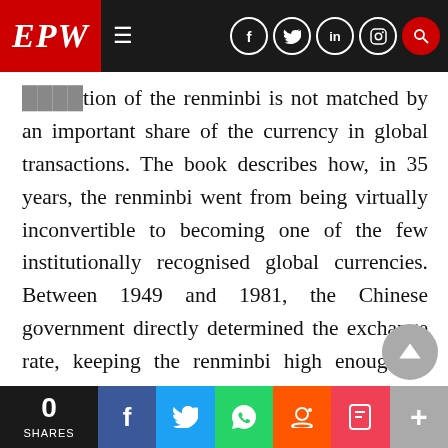EPW — Economic and Political Weekly website header with navigation icons
tion of the renminbi is not matched by an important share of the currency in global transactions. The book describes how, in 35 years, the renminbi went from being virtually inconvertible to becoming one of the few institutionally recognised global currencies. Between 1949 and 1981, the Chinese government directly determined the exchange rate, keeping the renminbi high enough to prevent imports from challenging domestic manufacturing. This policy changed in 1981, and since then, although exchange rate is still controlled by the People's Bank of China, it has gone through different forms of
0 SHARES | Share buttons: Facebook, Twitter, WhatsApp, Reddit, Pocket, More